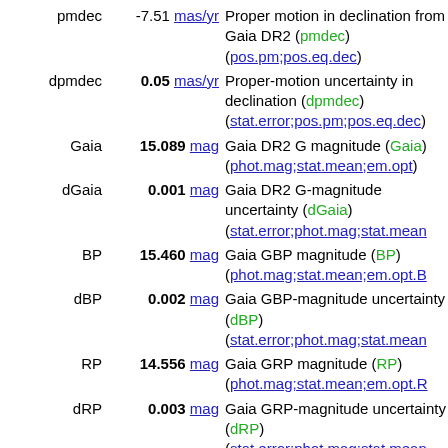| Parameter | Value | Description |
| --- | --- | --- |
| pmdec | -7.51 mas/yr | Proper motion in declination from Gaia DR2 (pmdec) (pos.pm;pos.eq.dec) |
| dpmdec | 0.05 mas/yr | Proper-motion uncertainty in declination (dpmdec) (stat.error;pos.pm;pos.eq.dec) |
| Gaia | 15.089 mag | Gaia DR2 G magnitude (Gaia) (phot.mag;stat.mean;em.opt) |
| dGaia | 0.001 mag | Gaia DR2 G-magnitude uncertainty (dGaia) (stat.error;phot.mag;stat.mean) |
| BP | 15.460 mag | Gaia GBP magnitude (BP) (phot.mag;stat.mean;em.opt.B) |
| dBP | 0.002 mag | Gaia GBP-magnitude uncertainty (dBP) (stat.error;phot.mag;stat.mean) |
| RP | 14.556 mag | Gaia GRP magnitude (RP) (phot.mag;stat.mean;em.opt.R) |
| dRP | 0.003 mag | Gaia GRP-magnitude uncertainty (dRP) (stat.error;phot.mag;stat.mean) |
| Teff | 5404 K | Gaia stellar effective temperature (Teff) |